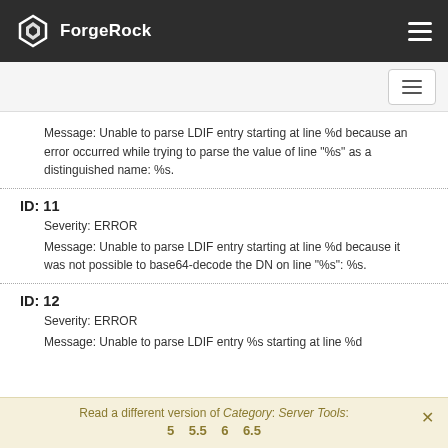ForgeRock
Message: Unable to parse LDIF entry starting at line %d because an error occurred while trying to parse the value of line "%s" as a distinguished name: %s.
ID: 11
Severity: ERROR
Message: Unable to parse LDIF entry starting at line %d because it was not possible to base64-decode the DN on line "%s": %s.
ID: 12
Severity: ERROR
Message: Unable to parse LDIF entry %s starting at line %d
Read a different version of Category: Server Tools: 5  5.5  6  6.5